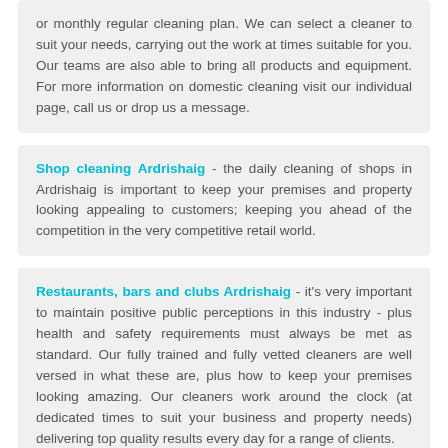or monthly regular cleaning plan. We can select a cleaner to suit your needs, carrying out the work at times suitable for you. Our teams are also able to bring all products and equipment. For more information on domestic cleaning visit our individual page, call us or drop us a message.
Shop cleaning Ardrishaig - the daily cleaning of shops in Ardrishaig is important to keep your premises and property looking appealing to customers; keeping you ahead of the competition in the very competitive retail world.
Restaurants, bars and clubs Ardrishaig - it's very important to maintain positive public perceptions in this industry - plus health and safety requirements must always be met as standard. Our fully trained and fully vetted cleaners are well versed in what these are, plus how to keep your premises looking amazing. Our cleaners work around the clock (at dedicated times to suit your business and property needs) delivering top quality results every day for a range of clients.